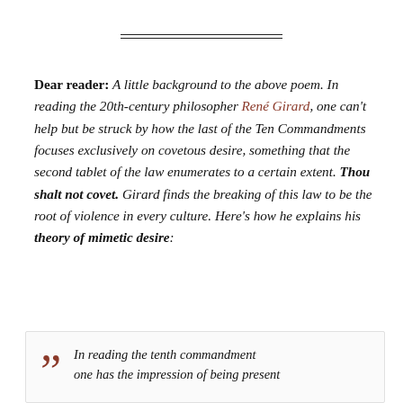——
Dear reader: A little background to the above poem. In reading the 20th-century philosopher René Girard, one can't help but be struck by how the last of the Ten Commandments focuses exclusively on covetous desire, something that the second tablet of the law enumerates to a certain extent. Thou shalt not covet. Girard finds the breaking of this law to be the root of violence in every culture. Here's how he explains his theory of mimetic desire:
In reading the tenth commandment one has the impression of being present